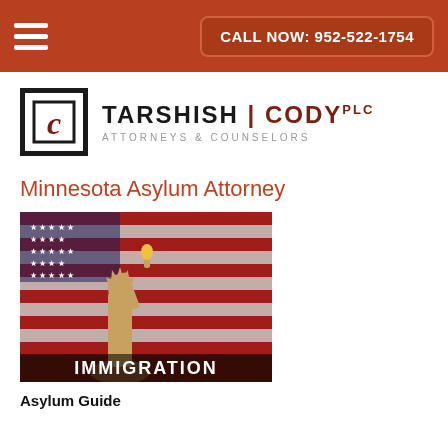CALL NOW: 952-522-1754
[Figure (logo): Tarshish Cody PLC logo with TC monogram in a square frame followed by firm name and tagline 'Attorneys & Counselors']
Minnesota Asylum Attorney
[Figure (photo): Immigration themed image showing the Statue of Liberty in front of an American flag with the word IMMIGRATION written at the bottom]
Asylum Guide